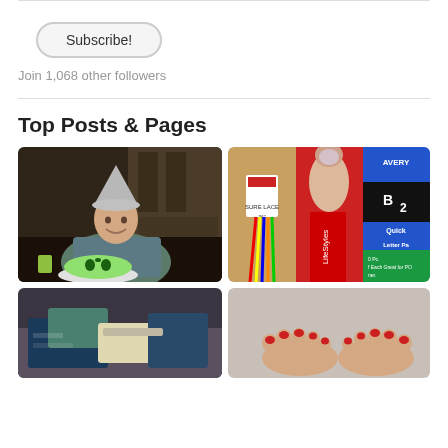Subscribe!
Join 1,068 other followers
Top Posts & Pages
[Figure (photo): Young man wearing a tin foil hat seated at a table with a green alien-face cake on a white plate]
[Figure (photo): Collage of three product images: colorful shoelaces, a LifeStyles product tube, and an Avery Quick Letter Pad package]
[Figure (photo): Clothes and bags scattered on a bed]
[Figure (photo): Bare feet with red nail polish on a light surface]